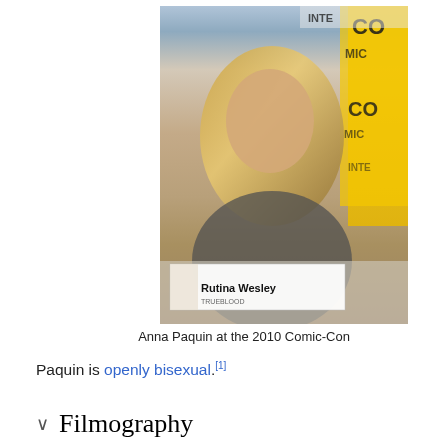[Figure (photo): Anna Paquin at the 2010 Comic-Con, seated at a panel table with a Rutina Wesley nameplate visible in front, Comic-Con banner in background.]
Anna Paquin at the 2010 Comic-Con
Paquin is openly bisexual.[1]
Filmography